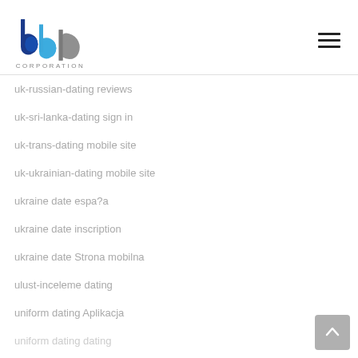bbp CORPORATION
uk-russian-dating reviews
uk-sri-lanka-dating sign in
uk-trans-dating mobile site
uk-ukrainian-dating mobile site
ukraine date espa?a
ukraine date inscription
ukraine date Strona mobilna
ulust-inceleme dating
uniform dating Aplikacja
uniform dating dating